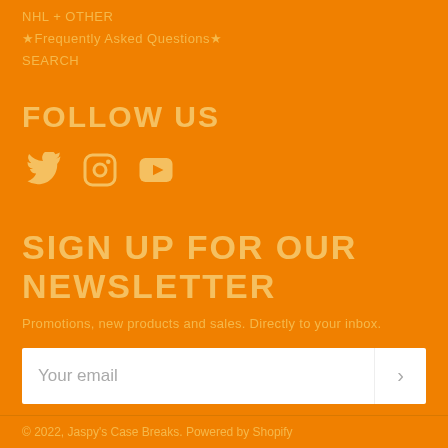NHL + OTHER
★Frequently Asked Questions★
SEARCH
FOLLOW US
[Figure (illustration): Three social media icons: Twitter bird, Instagram camera outline, YouTube play button]
SIGN UP FOR OUR NEWSLETTER
Promotions, new products and sales. Directly to your inbox.
Your email
© 2022, Jaspy's Case Breaks. Powered by Shopify